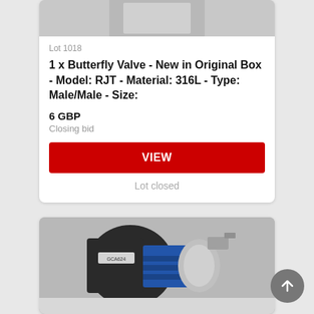[Figure (photo): Top portion of a product image, partially visible at the top of the first card]
Lot 1018
1 x Butterfly Valve - New in Original Box - Model: RJT - Material: 316L - Type: Male/Male - Size:
6 GBP
Closing bid
VIEW
Lot closed
[Figure (photo): Photo of a blue and black industrial pump motor with stainless steel housing, labeled GCA524]